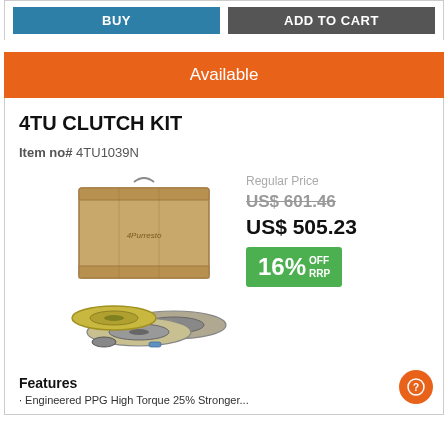[Figure (other): Two buttons at the top: a teal/blue BUY button and a dark grey ADD TO CART button]
Available
4TU CLUTCH KIT
Item no# 4TU1039N
[Figure (photo): Product photo of 4TU Clutch Kit showing a wooden crate box and clutch disc/pressure plate components on a white background]
Regular Price
US$ 601.46
US$ 505.23
16% OFF RRP
Features
Engineered PPG High Torque 25% Stronger...